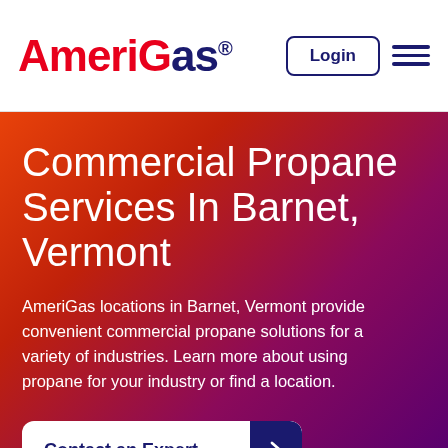AmeriGas® | Login | Menu
Commercial Propane Services In Barnet, Vermont
AmeriGas locations in Barnet, Vermont provide convenient commercial propane solutions for a variety of industries. Learn more about using propane for your industry or find a location.
Contact an Expert
Existing Customers